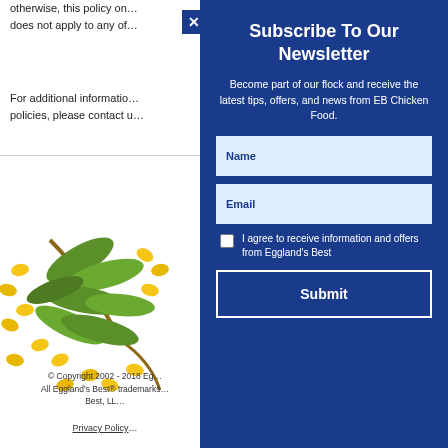otherwise, this policy on... does not apply to any of...
For additional informatio... policies, please contact u...
[Figure (photo): Green soybeans pods and yellow corn kernels scattered on white background]
© Copyright 2002 - 2018 Eg... All Eggland's Best&reg; trademarks... Best, LL...
Privacy Policy
Subscribe To Our Newsletter
Become part of our flock and receive the latest tips, offers, and news from EB Chicken Food.
Name
Email
I agree to receive information and offers from Eggland's Best
Submit